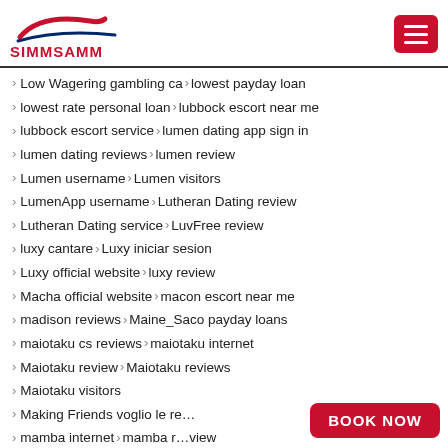SIMMSAMM
Low Wagering gambling ca > lowest payday loan
lowest rate personal loan > lubbock escort near me
lubbock escort service > lumen dating app sign in
lumen dating reviews > lumen review
Lumen username > Lumen visitors
LumenApp username > Lutheran Dating review
Lutheran Dating service > LuvFree review
luxy cantare > Luxy iniciar sesion
Luxy official website > luxy review
Macha official website > macon escort near me
madison reviews > Maine_Saco payday loans
maiotaku cs reviews > maiotaku internet
Maiotaku review > Maiotaku reviews
Maiotaku visitors
Making Friends voglio le re…
mamba internet > mamba r… view